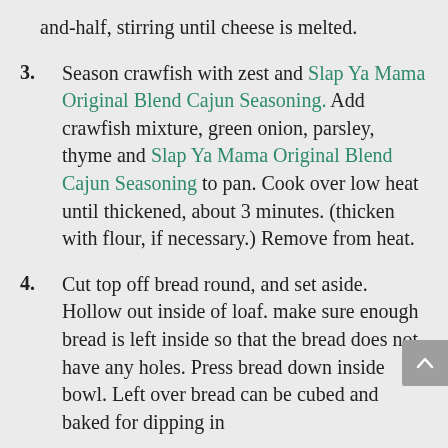and-half, stirring until cheese is melted.
3. Season crawfish with zest and Slap Ya Mama Original Blend Cajun Seasoning. Add crawfish mixture, green onion, parsley, thyme and Slap Ya Mama Original Blend Cajun Seasoning to pan. Cook over low heat until thickened, about 3 minutes. (thicken with flour, if necessary.) Remove from heat.
4. Cut top off bread round, and set aside. Hollow out inside of loaf. make sure enough bread is left inside so that the bread does not have any holes. Press bread down inside bowl. Left over bread can be cubed and baked for dipping in